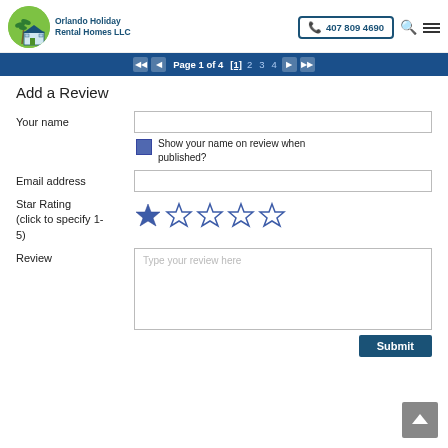[Figure (logo): Orlando Holiday Rental Homes LLC logo with house and palm tree]
407 809 4690
Page 1 of 4 [1] 2 3 4
Add a Review
Your name
Show your name on review when published?
Email address
Star Rating (click to specify 1-5)
Review
Type your review here